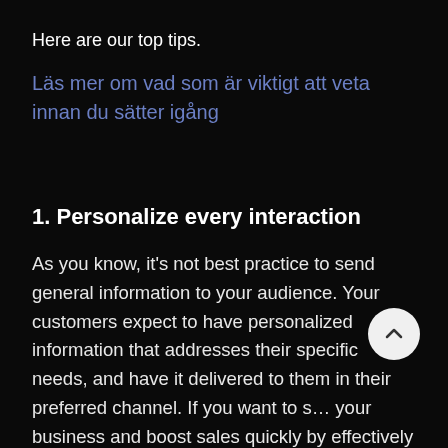Here are our top tips.
Läs mer om vad som är viktigt att veta innan du sätter igång
1. Personalize every interaction
As you know, it's not best practice to send general information to your audience. Your customers expect to have personalized information that addresses their specific needs, and have it delivered to them in their preferred channel. If you want to s… your business and boost sales quickly by effectively attracting and nurturing your prospects, you should consider personalizing every interaction every